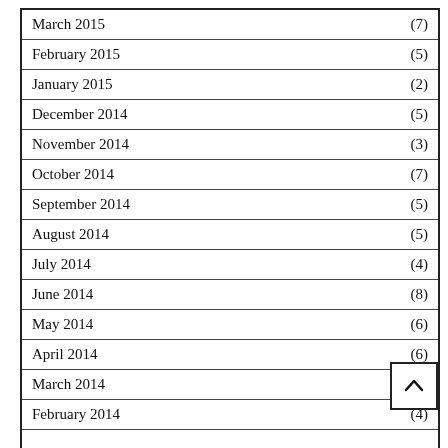March 2015 (7)
February 2015 (5)
January 2015 (2)
December 2014 (5)
November 2014 (3)
October 2014 (7)
September 2014 (5)
August 2014 (5)
July 2014 (4)
June 2014 (8)
May 2014 (6)
April 2014 (6)
March 2014
February 2014 (4)